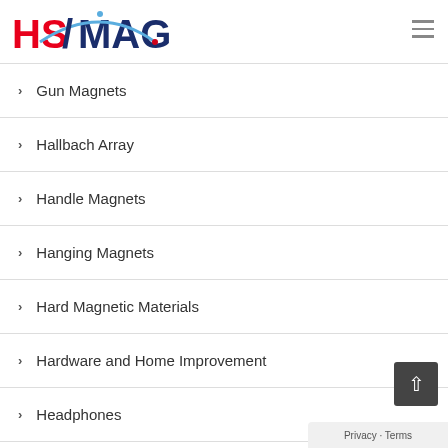HSMAG logo and navigation menu icon
Gun Magnets
Hallbach Array
Handle Magnets
Hanging Magnets
Hard Magnetic Materials
Hardware and Home Improvement
Headphones
Health
Health Therapy Magnets